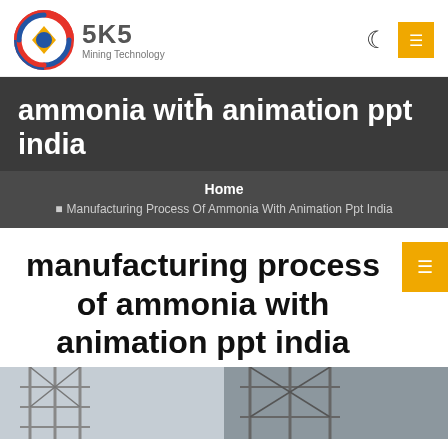SKS Mining Technology
ammonia with animation ppt india
Home
Manufacturing Process Of Ammonia With Animation Ppt India
manufacturing process of ammonia with animation ppt india
[Figure (photo): Industrial steel structure or factory interior photograph, partially visible at the bottom of the page]